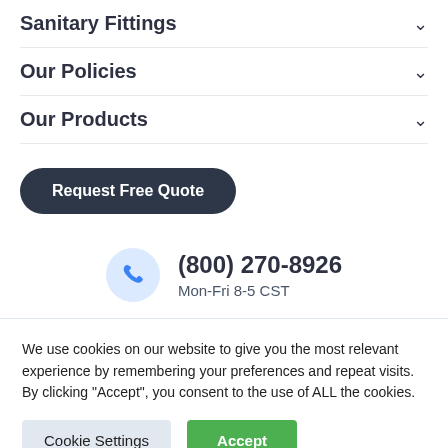Sanitary Fittings
Our Policies
Our Products
Request Free Quote
(800) 270-8926
Mon-Fri 8-5 CST
We use cookies on our website to give you the most relevant experience by remembering your preferences and repeat visits. By clicking “Accept”, you consent to the use of ALL the cookies.
Cookie Settings
Accept